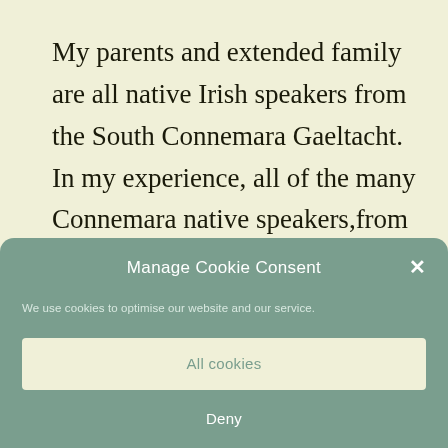My parents and extended family are all native Irish speakers from the South Connemara Gaeltacht. In my experience, all of the many Connemara native speakers,from their era (born 20s, 30s,40s) referred to their native language, when
Manage Cookie Consent
We use cookies to optimise our website and our service.
All cookies
Deny